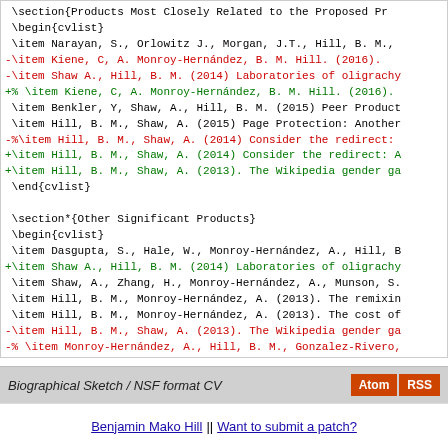\section{Products Most Closely Related to the Proposed Pr...
\begin{cvlist}
 \item Narayan, S., Orlowitz J., Morgan, J.T., Hill, B. M., ...
-\item Kiene, C, A. Monroy-Hernández, B. M. Hill. (2016). ...
-\item Shaw A., Hill, B. M. (2014) Laboratories of oligrachy...
+% \item Kiene, C, A. Monroy-Hernández, B. M. Hill. (2016). ...
 \item Benkler, Y, Shaw, A., Hill, B. M. (2015) Peer Product...
 \item Hill, B. M., Shaw, A. (2015) Page Protection: Another...
-%\item Hill, B. M., Shaw, A. (2014) Consider the redirect:...
+\item Hill, B. M., Shaw, A. (2014) Consider the redirect: A...
+\item Hill, B. M., Shaw, A. (2013). The Wikipedia gender ga...
 \end{cvlist}

 \section*{Other Significant Products}
 \begin{cvlist}
 \item Dasgupta, S., Hale, W., Monroy-Hernández, A., Hill, B...
+\item Shaw A., Hill, B. M. (2014) Laboratories of oligrachy...
 \item Shaw, A., Zhang, H., Monroy-Hernández, A., Munson, S....
 \item Hill, B. M., Monroy-Hernández, A. (2013). The remixin...
 \item Hill, B. M., Monroy-Hernández, A. (2013). The cost of...
-\item Hill, B. M., Shaw, A. (2013). The Wikipedia gender ga...
-% \item Monroy-Hernández, A., Hill, B. M., Gonzalez-Rivero,...
+% \item Monroy-Hernández, A., Hill, B. M., Gonzalez-Rivero,...
 % \item Hill, B. M., Monroy-Hernández, A., Olson, K. (2010)...
 %\item Hill, B. M. (2010). Revealing errors. In Error: Glit...
 % \item Buechley, L., Hill, B.M. (2010). LilyPad in the wil...
Biographical Sketch / NSF format CV
Benjamin Mako Hill || Want to submit a patch?